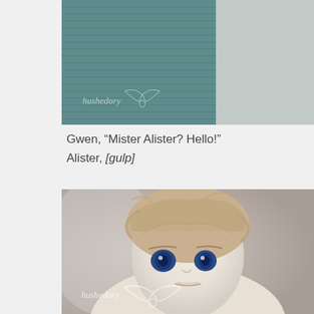[Figure (photo): Close-up photo of a ball-jointed doll wearing a striped teal/grey fabric, with a watermark logo 'hushedory' with wing design in lower left corner.]
Gwen, “Mister Alister? Hello!”
Alister, [gulp]
[Figure (photo): Close-up photo of a ball-jointed doll with blonde/light brown tousled hair, large blue glass eyes, pale porcelain skin, wearing a cream knit sweater. A 'hushedory' watermark with wing motif is visible in the lower portion.]